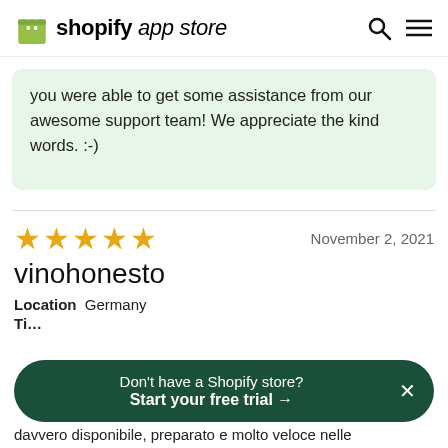shopify app store
you were able to get some assistance from our awesome support team! We appreciate the kind words. :-)
★★★★★   November 2, 2021
vinohonesto
Location  Germany
Don't have a Shopify store? Start your free trial →
davvero disponibile, preparato e molto veloce nelle